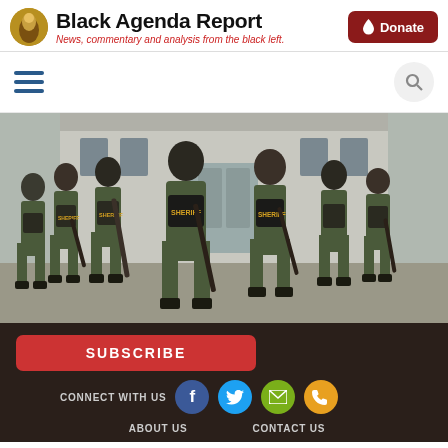Black Agenda Report — News, commentary and analysis from the black left.
[Figure (logo): Black Agenda Report logo with gold circular icon and site title]
[Figure (photo): Group of Black sheriff deputies in green tactical uniforms holding batons, standing in formation outside a building]
SUBSCRIBE | CONNECT WITH US | ABOUT US | CONTACT US